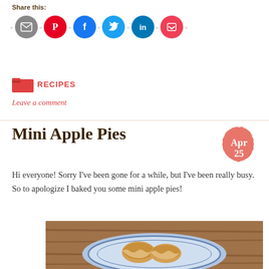Share this:
[Figure (infographic): Row of social media sharing icon circles: email (grey), Pinterest (red), Facebook (blue), Twitter (light blue), LinkedIn (teal), Pocket (pink-red), with chevron arrows between them]
[Figure (infographic): Red folder icon]
RECIPES
Leave a comment
Mini Apple Pies
[Figure (infographic): Scalloped circle date badge in salmon/coral color reading 'Apr 25']
Hi everyone! Sorry I’ve been gone for a while, but I’ve been really busy. So to apologize I baked you some mini apple pies!
[Figure (photo): Photo of mini apple pies on a blue and white decorative plate on a wooden surface]